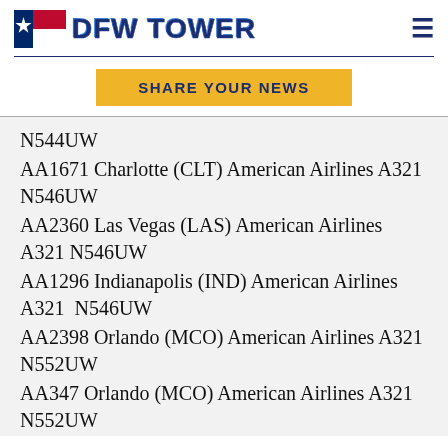DFW TOWER
SHARE YOUR NEWS
N544UW
AA1671 Charlotte (CLT) American Airlines A321 N546UW
AA2360 Las Vegas (LAS) American Airlines A321 N546UW
AA1296 Indianapolis (IND) American Airlines A321 N546UW
AA2398 Orlando (MCO) American Airlines A321 N552UW
AA347 Orlando (MCO) American Airlines A321 N552UW